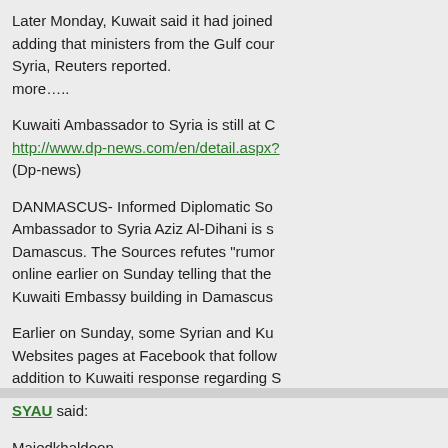Later Monday, Kuwait said it had joined adding that ministers from the Gulf cour Syria, Reuters reported.
more…..
Kuwaiti Ambassador to Syria is still at C
http://www.dp-news.com/en/detail.aspx?
(Dp-news)
DANMASCUS- Informed Diplomatic So Ambassador to Syria Aziz Al-Dihani is s Damascus. The Sources refutes "rumor online earlier on Sunday telling that the Kuwaiti Embassy building in Damascus
Earlier on Sunday, some Syrian and Ku Websites pages at Facebook that follow addition to Kuwaiti response regarding S decided to resign and leave his office at statements.
More….
August 8th, 2011, 9:43 am
SYAU said:
Majedkhaldoon,
Endorsing foreign intervention and no fl
The protesters are already armed
If anyone is to be referred to the ICC it s